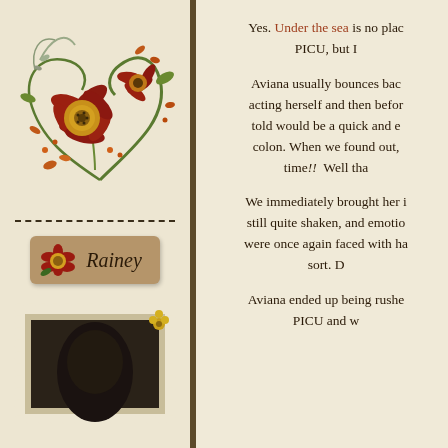[Figure (illustration): Decorative floral arrangement with autumn-colored flowers, petals, and swirling vines on a tan background]
[Figure (illustration): Name tag label reading 'Rainey' with a small red and yellow flower decoration]
[Figure (photo): Postage stamp styled frame containing a dark photo silhouette of a child]
Yes. Under the sea is no place for a PICU, but I
Aviana usually bounces back acting herself and then before told would be a quick and e colon. When we found out, time!!  Well tha
We immediately brought her in still quite shaken, and emotion were once again faced with ha sort. D
Aviana ended up being rushed PICU and w